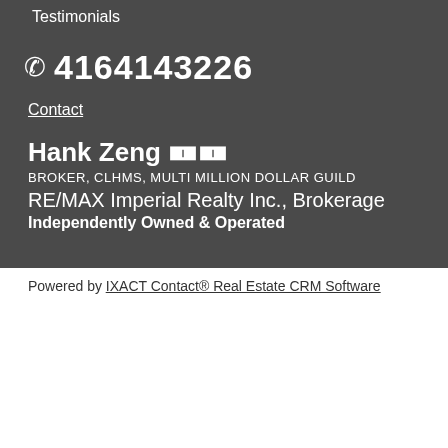Testimonials
4164143226
Contact
Hank Zeng 🀰🀰
BROKER, CLHMS, MULTI MILLION DOLLAR GUILD
RE/MAX Imperial Realty Inc., Brokerage
Independently Owned & Operated
Powered by IXACT Contact® Real Estate CRM Software
[Figure (logo): ADA Site Compliance badge — circular blue and gold seal with wheelchair accessibility icon]
[Figure (logo): reCAPTCHA widget box showing Google reCAPTCHA logo with 'Privacy - Terms' text]